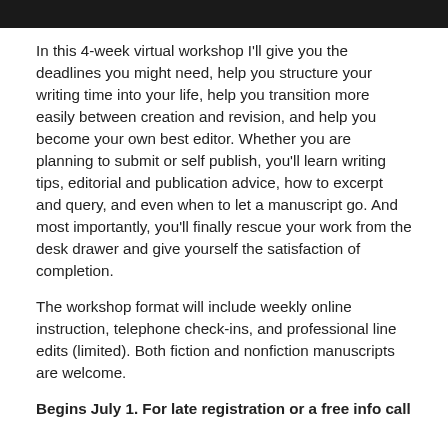[Figure (photo): Dark/black image bar at top of page, likely a cropped photo header]
In this 4-week virtual workshop I'll give you the deadlines you might need, help you structure your writing time into your life, help you transition more easily between creation and revision, and help you become your own best editor. Whether you are planning to submit or self publish, you'll learn writing tips, editorial and publication advice, how to excerpt and query, and even when to let a manuscript go. And most importantly, you'll finally rescue your work from the desk drawer and give yourself the satisfaction of completion.
The workshop format will include weekly online instruction, telephone check-ins, and professional line edits (limited). Both fiction and nonfiction manuscripts are welcome.
Begins July 1. For late registration or a free info call